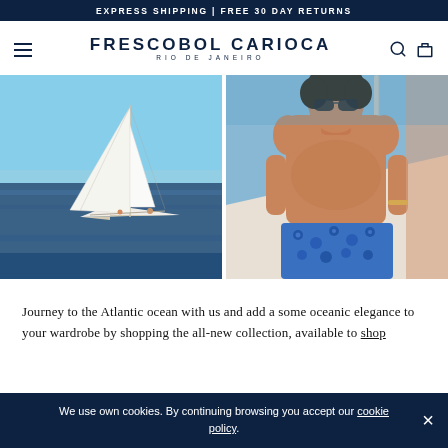EXPRESS SHIPPING | FREE 30 DAY RETURNS
FRESCOBOL CARIOCA
RIO DE JANEIRO
[Figure (photo): Sailboat on calm blue ocean water with white sail, people on deck]
[Figure (photo): Man wearing blue patterned swim shorts on a boat, wearing sunglasses, shirtless, with ocean background]
Journey to the Atlantic ocean with us and add a some oceanic elegance to your wardrobe by shopping the all-new collection, available to shop
We use own cookies. By continuing browsing you accept our cookie policy.